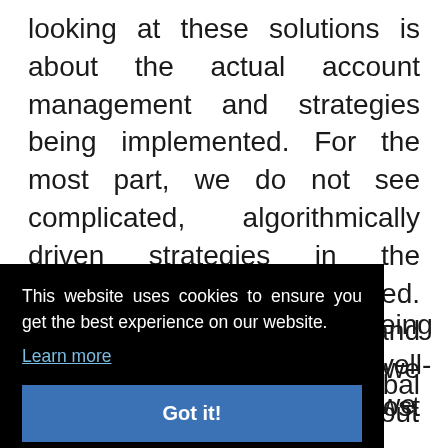looking at these solutions is about the actual account management and strategies being implemented. For the most part, we do not see complicated, algorithmically driven strategies in the portfolios we have opened. After a sleek onboarding and account-opening process, we mostly see traditional, low-cost ETF
[Figure (screenshot): Cookie consent banner overlay with black background. Text reads: 'This website uses cookies to ensure you get the best experience on our website. Learn more' with a blue 'Got it!' button.]
eing well- we out across industries and global markets.